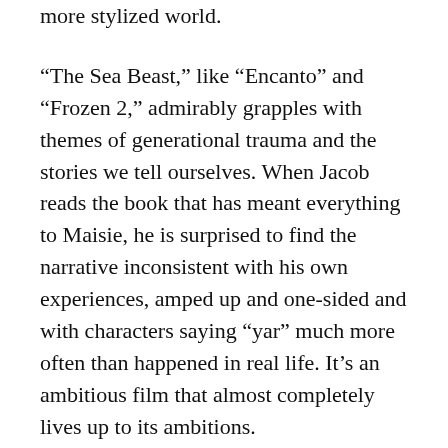more stylized world.
“The Sea Beast,” like “Encanto” and “Frozen 2,” admirably grapples with themes of generational trauma and the stories we tell ourselves. When Jacob reads the book that has meant everything to Maisie, he is surprised to find the narrative inconsistent with his own experiences, amped up and one-sided and with characters saying “yar” much more often than happened in real life. It’s an ambitious film that almost completely lives up to its ambitions.
Parents should know that this movie has extended peril and action-style fantasy violence with characters injured and references to sad deaths. Characters drink alcohol.
Family discussion: How do you know whether to believe what you read or hear? Do you agree with the code? How did the characters decide who to trust? What do